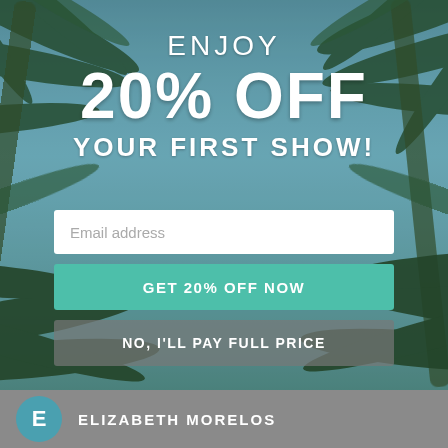[Figure (infographic): Promotional popup with tropical palm tree background (sky-blue tones). Contains headline text 'ENJOY 20% OFF YOUR FIRST SHOW!', an email address input field, a teal 'GET 20% OFF NOW' button, and a gray 'NO, I'LL PAY FULL PRICE' button.]
ENJOY
20% OFF
YOUR FIRST SHOW!
Email address
GET 20% OFF NOW
NO, I'LL PAY FULL PRICE
ELIZABETH MORELOS